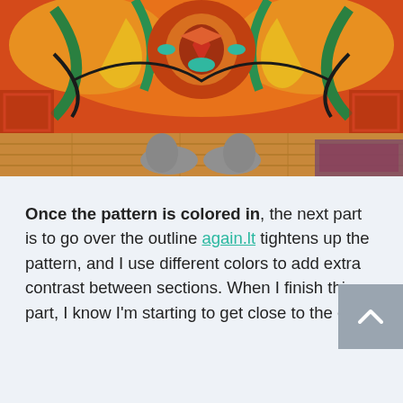[Figure (photo): A colorful symmetrical mural/tapestry with orange, red, green, yellow patterns hanging on a wall. At the bottom, a person's feet in grey socks stand on a wooden floor with a patterned rug visible.]
Once the pattern is colored in, the next part is to go over the outline again.lt tightens up the pattern, and I use different colors to add extra contrast between sections. When I finish this part, I know I'm starting to get close to the end.